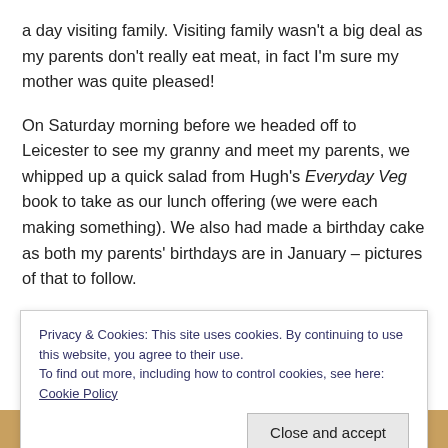a day visiting family.  Visiting family wasn't a big deal as my parents don't really eat meat, in fact I'm sure my mother was quite pleased!

On Saturday morning before we headed off to Leicester to see my granny and meet my parents, we whipped up a quick salad from Hugh's Everyday Veg book to take as our lunch offering (we were each making something).  We also had made a birthday cake as both my parents' birthdays are in January – pictures of that to follow.
Saturday 14th J...
Privacy & Cookies: This site uses cookies. By continuing to use this website, you agree to their use.
To find out more, including how to control cookies, see here: Cookie Policy
[Figure (photo): Partial photo of food visible at the bottom of the page]